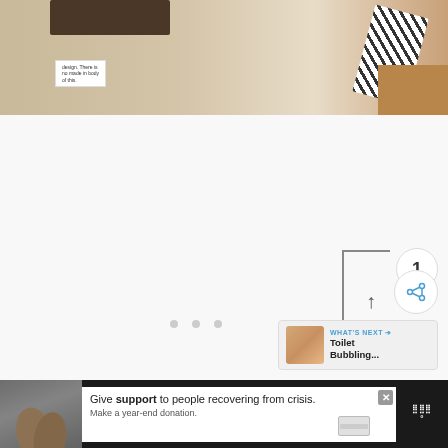[Figure (photo): Partial view of a packaged item with a clothing label tag on cardboard/kraft paper packaging, with a torn barcode strip and brown corner]
ADVERTISEMENT
[Figure (other): Three gray pagination dots]
[Figure (other): Heart/like button (blue circle with white heart icon), count badge showing 1, share button with share icon, and a What's Next panel showing 'Toilet Bubbling...' with thumbnail]
[Figure (photo): Bottom advertisement banner: hands clasped image on dark background, white ad box with text 'Give support to people recovering from crisis. Make a year-end donation.' with close button and credit card icon, and a logo on the right]